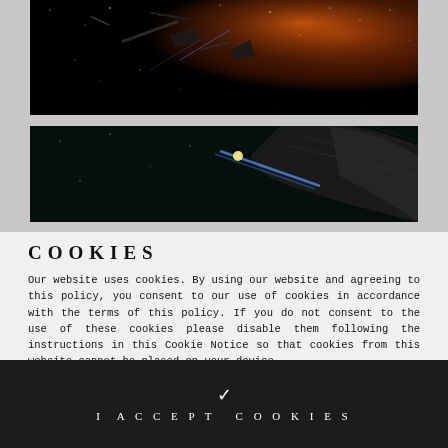[Figure (photo): Dark space scene with spaceships, debris, and orange/red nebula in background]
[Figure (photo): Dark space scene with large curved spacecraft structure and blue energy beam, yellow light source visible]
COOKIES
Our website uses cookies. By using our website and agreeing to this policy, you consent to our use of cookies in accordance with the terms of this policy. If you do not consent to the use of these cookies please disable them following the instructions in this Cookie Notice so that cookies from this website cannot be placed on your device. Learn more about Cookies.
I ACCEPT COOKIES